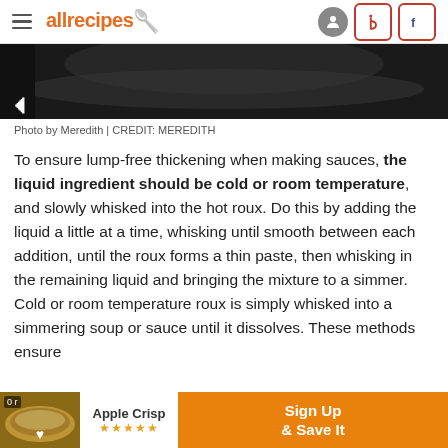allrecipes
[Figure (photo): Close-up photo of a dark pan with a sauce or roux, partially visible at top of page.]
Photo by Meredith | CREDIT: MEREDITH
To ensure lump-free thickening when making sauces, the liquid ingredient should be cold or room temperature, and slowly whisked into the hot roux. Do this by adding the liquid a little at a time, whisking until smooth between each addition, until the roux forms a thin paste, then whisking in the remaining liquid and bringing the mixture to a simmer. Cold or room temperature roux is simply whisked into a simmering soup or sauce until it dissolves. These methods ensure the s...illing...
[Figure (screenshot): Advertisement banner for Apple Crisp recipe with Sign Up & Save It call to action.]